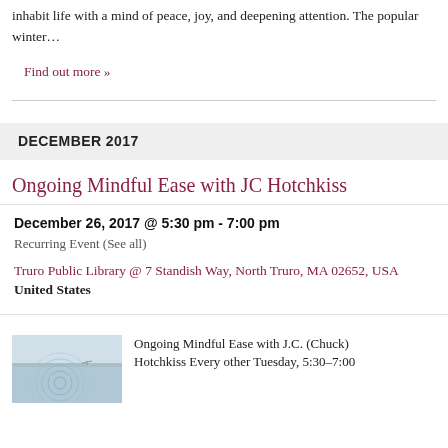inhabit life with a mind of peace, joy, and deepening attention. The popular winter…
Find out more »
DECEMBER 2017
Ongoing Mindful Ease with JC Hotchkiss
December 26, 2017 @ 5:30 pm - 7:00 pm
Recurring Event (See all)
Truro Public Library @ 7 Standish Way, North Truro, MA 02652, USA United States
[Figure (photo): Aerial or water surface photo with circular ripple patterns]
Ongoing Mindful Ease with J.C. (Chuck) Hotchkiss Every other Tuesday, 5:30–7:00